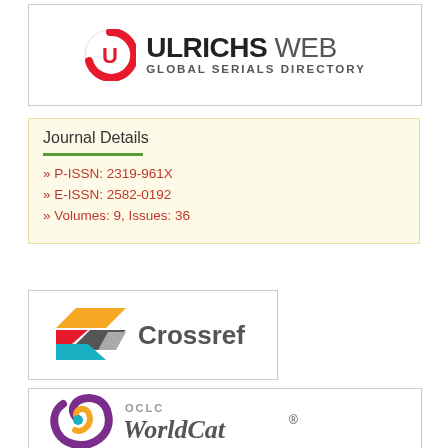[Figure (logo): UlrichsWeb Global Serials Directory logo with red U circle icon and bold ULRICHS WEB text]
Journal Details
» P-ISSN: 2319-961X
» E-ISSN: 2582-0192
» Volumes: 9, Issues: 36
[Figure (logo): Crossref logo with colorful geometric shapes and Crossref text]
[Figure (logo): OCLC WorldCat logo with purple swirl icon and WorldCat text]